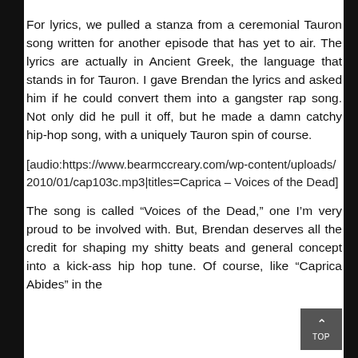For lyrics, we pulled a stanza from a ceremonial Tauron song written for another episode that has yet to air. The lyrics are actually in Ancient Greek, the language that stands in for Tauron. I gave Brendan the lyrics and asked him if he could convert them into a gangster rap song. Not only did he pull it off, but he made a damn catchy hip-hop song, with a uniquely Tauron spin of course.
[audio:https://www.bearmccreary.com/wp-content/uploads/2010/01/cap103c.mp3|titles=Caprica – Voices of the Dead]
The song is called “Voices of the Dead,” one I’m very proud to be involved with. But, Brendan deserves all the credit for shaping my shitty beats and general concept into a kick-ass hip hop tune. Of course, like “Caprica Abides” in the